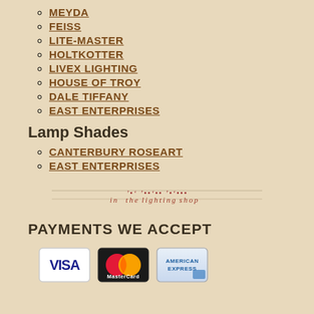MEYDA
FEISS
LITE-MASTER
HOLTKOTTER
LIVEX LIGHTING
HOUSE OF TROY
DALE TIFFANY
EAST ENTERPRISES
Lamp Shades
CANTERBURY ROSEART
EAST ENTERPRISES
[Figure (illustration): Decorative signature/script text divider line]
PAYMENTS WE ACCEPT
[Figure (illustration): Payment card icons: Visa, MasterCard, American Express]